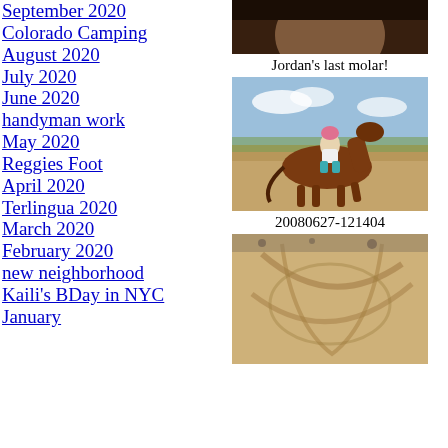September 2020
Colorado Camping
August 2020
July 2020
June 2020
handyman work
May 2020
Reggies Foot
April 2020
Terlingua 2020
March 2020
February 2020
new neighborhood
Kaili's BDay in NYC
January
[Figure (photo): Close-up photo of a child (partially visible at top)]
Jordan's last molar!
[Figure (photo): Child in pink helmet riding a brown horse in a dirt arena]
20080627-121404
[Figure (photo): Sand artwork/carving showing a large design on a beach]